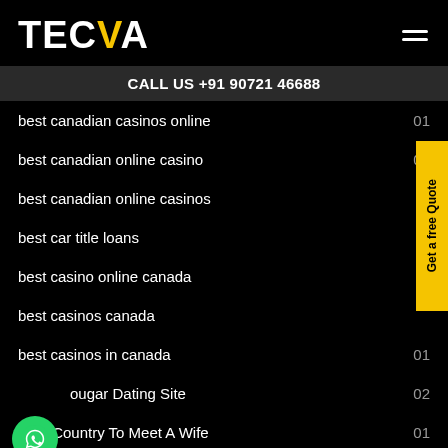TECVA
CALL US +91 90721 46688
best canadian casinos online 01
best canadian online casino 02
best canadian online casinos
best car title loans
best casino online canada
best casinos canada
best casinos in canada 01
Best Cougar Dating Site 02
Best Country To Meet A Wife 01